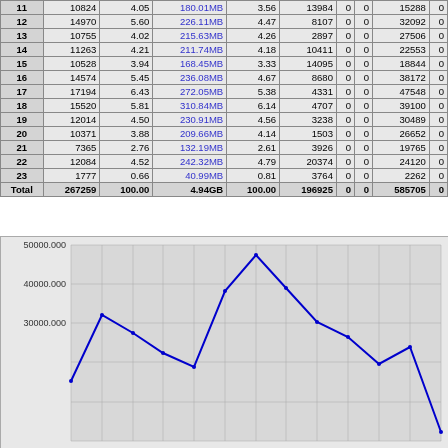|  |  |  |  |  |  |  |  |  |  |
| --- | --- | --- | --- | --- | --- | --- | --- | --- | --- |
| 11 | 10824 | 4.05 | 180.01MB | 3.56 | 13984 | 0 | 0 | 15288 | 0 |
| 12 | 14970 | 5.60 | 226.11MB | 4.47 | 8107 | 0 | 0 | 32092 | 0 |
| 13 | 10755 | 4.02 | 215.63MB | 4.26 | 2897 | 0 | 0 | 27506 | 0 |
| 14 | 11263 | 4.21 | 211.74MB | 4.18 | 10411 | 0 | 0 | 22553 | 0 |
| 15 | 10528 | 3.94 | 168.45MB | 3.33 | 14095 | 0 | 0 | 18844 | 0 |
| 16 | 14574 | 5.45 | 236.08MB | 4.67 | 8680 | 0 | 0 | 38172 | 0 |
| 17 | 17194 | 6.43 | 272.05MB | 5.38 | 4331 | 0 | 0 | 47548 | 0 |
| 18 | 15520 | 5.81 | 310.84MB | 6.14 | 4707 | 0 | 0 | 39100 | 0 |
| 19 | 12014 | 4.50 | 230.91MB | 4.56 | 3238 | 0 | 0 | 30489 | 0 |
| 20 | 10371 | 3.88 | 209.66MB | 4.14 | 1503 | 0 | 0 | 26652 | 0 |
| 21 | 7365 | 2.76 | 132.19MB | 2.61 | 3926 | 0 | 0 | 19765 | 0 |
| 22 | 12084 | 4.52 | 242.32MB | 4.79 | 20374 | 0 | 0 | 24120 | 0 |
| 23 | 1777 | 0.66 | 40.99MB | 0.81 | 3764 | 0 | 0 | 2262 | 0 |
| Total | 267259 | 100.00 | 4.94GB | 100.00 | 196925 | 0 | 0 | 585705 | 0 |
[Figure (line-chart): ]